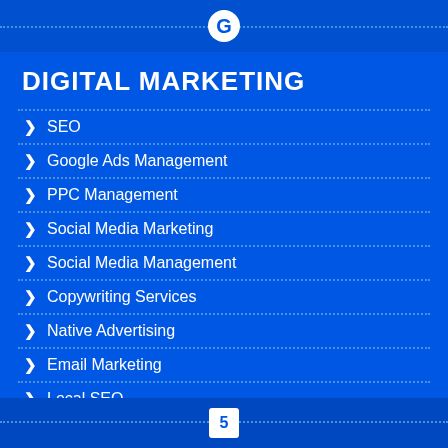G
DIGITAL MARKETING
SEO
Google Ads Management
PPC Management
Social Media Marketing
Social Media Management
Copywriting Services
Native Advertising
Email Marketing
Local SEO
Affiliate Marketing
Data Analytics
5